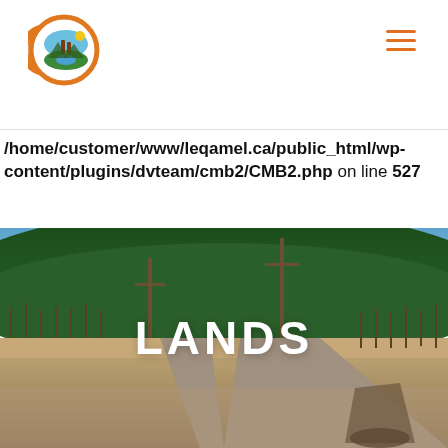Leqamel website header with logo and navigation menu
/home/customer/www/leqamel.ca/public_html/wp-content/plugins/dvteam/cmb2/CMB2.php on line 527
[Figure (photo): Panoramic outdoor photo of a gravel road forking through an open valley with bare trees and a forested hillside in the background under a blue sky. The text 'LANDS' is overlaid in large bold white capital letters centered on the image.]